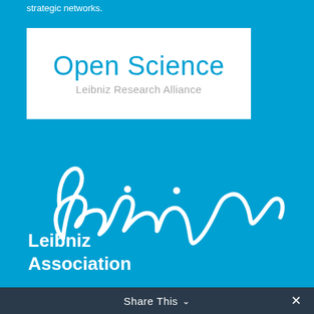strategic networks.
[Figure (logo): Open Science Leibniz Research Alliance logo: white box with 'Open Science' in light blue large text and 'Leibniz Research Alliance' in gray smaller text below]
[Figure (logo): Leibniz Association logo: cursive white 'Leibniz' signature script on blue background with 'Leibniz Association' text below in white bold]
Share This  ✕